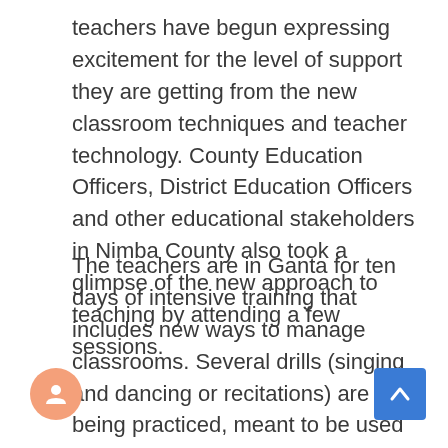teachers have begun expressing excitement for the level of support they are getting from the new classroom techniques and teacher technology. County Education Officers, District Education Officers and other educational stakeholders in Nimba County also took a glimpse of the new approach to teaching by attending a few sessions.
The teachers are in Ganta for ten days of intensive training that includes new ways to manage classrooms. Several drills (singing and dancing or recitations) are being practiced, meant to be used in their respective classrooms that motivate students and improve their learning habits.